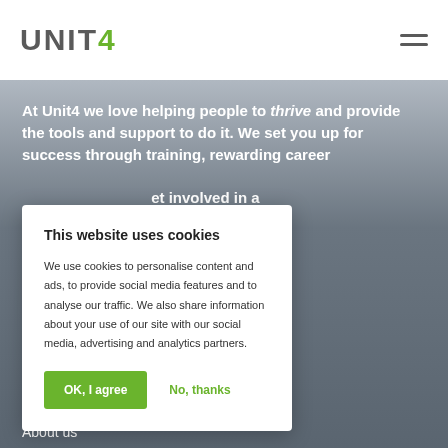UNIT4
At Unit4 we love helping people to thrive and provide the tools and support to do it. We set you up for success through training, rewarding career … get involved in a … really make a …
This website uses cookies

We use cookies to personalise content and ads, to provide social media features and to analyse our traffic. We also share information about your use of our site with our social media, advertising and analytics partners.

OK, I agree    No, thanks
About us